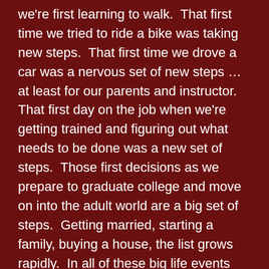we're first learning to walk.  That first time we tried to ride a bike was taking new steps.  That first time we drove a car was a nervous set of new steps … at least for our parents and instructor.  That first day on the job when we're getting trained and figuring out what needs to be done was a new set of steps.  Those first decisions as we prepare to graduate college and move on into the adult world are a big set of steps.  Getting married, starting a family, buying a house, the list grows rapidly.  In all of these big life events we're learning another way to take more steps in this life.  In each of these moments though, we're still a lot like the little one with a steadying hand holding onto something wondering if its safe to let go.  We're wobbling with our balance trying to put one foot in front of the other hoping we don't go crashing down.